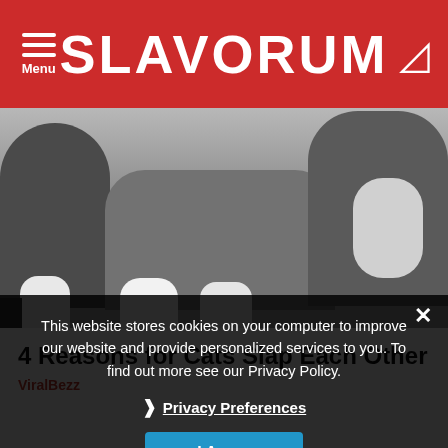SLAVORUM — Menu
[Figure (photo): Two cats lying on a floor, viewed from behind, showing their bodies and paws from a low angle]
4 Reasons for Cats Slap Each Other
ViralBezz
This website stores cookies on your computer to improve our website and provide personalized services to you. To find out more see our Privacy Policy.
Privacy Preferences
I Agree